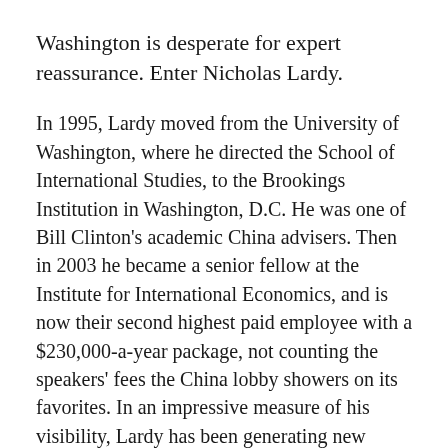Washington is desperate for expert reassurance. Enter Nicholas Lardy.
In 1995, Lardy moved from the University of Washington, where he directed the School of International Studies, to the Brookings Institution in Washington, D.C. He was one of Bill Clinton's academic China advisers. Then in 2003 he became a senior fellow at the Institute for International Economics, and is now their second highest paid employee with a $230,000-a-year package, not counting the speakers' fees the China lobby showers on its favorites. In an impressive measure of his visibility, Lardy has been generating new listings in the Nexis news clipping database at the rate of four or five a day. Meanwhile, he ranks alongside two former American ambassadors to China as a vice chairman of the National